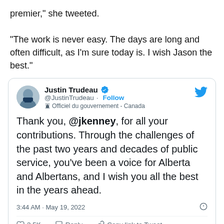premier," she tweeted.
"The work is never easy. The days are long and often difficult, as I'm sure today is. I wish Jason the best."
[Figure (screenshot): Embedded tweet from Justin Trudeau (@JustinTrudeau), verified account, government official - Canada. Tweet text: 'Thank you, @jkenney, for all your contributions. Through the challenges of the past two years and decades of public service, you've been a voice for Alberta and Albertans, and I wish you all the best in the years ahead.' Posted 3:44 AM · May 19, 2022. Engagement: 3.5K likes. Actions: Reply, Copy link to Tweet.]